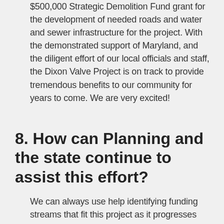$500,000 Strategic Demolition Fund grant for the development of needed roads and water and sewer infrastructure for the project. With the demonstrated support of Maryland, and the diligent effort of our local officials and staff, the Dixon Valve Project is on track to provide tremendous benefits to our community for years to come. We are very excited!
8. How can Planning and the state continue to assist this effort?
We can always use help identifying funding streams that fit this project as it progresses